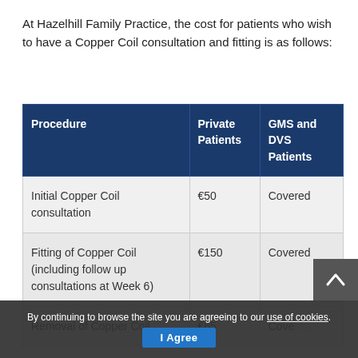At Hazelhill Family Practice, the cost for patients who wish to have a Copper Coil consultation and fitting is as follows:
| Procedure | Private Patients | GMS and DVS Patients |
| --- | --- | --- |
| Initial Copper Coil consultation | €50 | Covered |
| Fitting of Copper Coil (including follow up consultations at Week 6) | €150 | Covered |
| Removal of Copper Coil | €65 | Cove... |
By continuing to browse the site you are agreeing to our use of cookies. I Agree